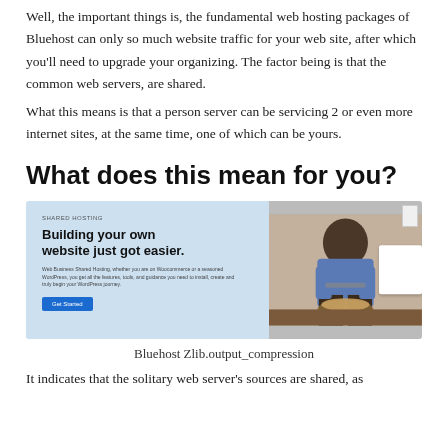Well, the important things is, the fundamental web hosting packages of Bluehost can only so much website traffic for your web site, after which you'll need to upgrade your organizing. The factor being is that the common web servers, are shared.
What this means is that a person server can be servicing 2 or even more internet sites, at the same time, one of which can be yours.
What does this mean for you?
[Figure (screenshot): Bluehost shared hosting webpage screenshot showing 'Building your own website just got easier.' headline with a photo of a chef on the right side and a 'Get Started' button.]
Bluehost Zlib.output_compression
It indicates that the solitary web server's sources are shared, as well as it is entirely up to the web host to offer sufficient resources for every one of the sites hosted thereon.